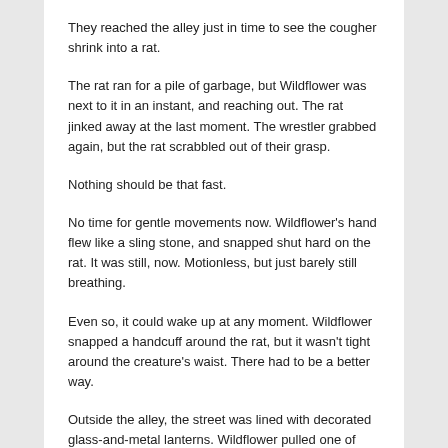They reached the alley just in time to see the cougher shrink into a rat.
The rat ran for a pile of garbage, but Wildflower was next to it in an instant, and reaching out. The rat jinked away at the last moment. The wrestler grabbed again, but the rat scrabbled out of their grasp.
Nothing should be that fast.
No time for gentle movements now. Wildflower's hand flew like a sling stone, and snapped shut hard on the rat. It was still, now. Motionless, but just barely still breathing.
Even so, it could wake up at any moment. Wildflower snapped a handcuff around the rat, but it wasn't tight around the creature's waist. There had to be a better way.
Outside the alley, the street was lined with decorated glass-and-metal lanterns. Wildflower pulled one of these from its pole, blew out the light, and shut the rat inside.